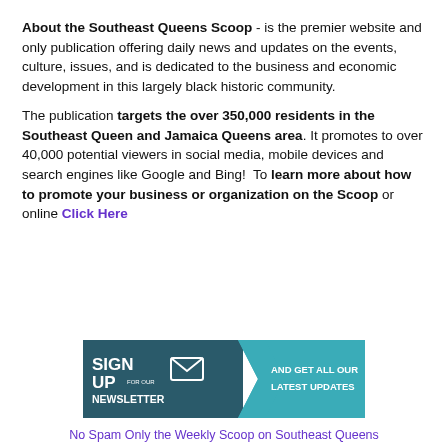About the Southeast Queens Scoop - is the premier website and only publication offering daily news and updates on the events, culture, issues, and is dedicated to the business and economic development in this largely black historic community.
The publication targets the over 350,000 residents in the Southeast Queen and Jamaica Queens area. It promotes to over 40,000 potential viewers in social media, mobile devices and search engines like Google and Bing! To learn more about how to promote your business or organization on the Scoop or online Click Here
[Figure (infographic): Newsletter sign-up banner with teal/dark background. Left side says SIGN UP FOR OUR NEWSLETTER with an envelope icon. Right side has a teal arrow pointing right with text AND GET ALL OUR LATEST UPDATES.]
No Spam Only the Weekly Scoop on Southeast Queens